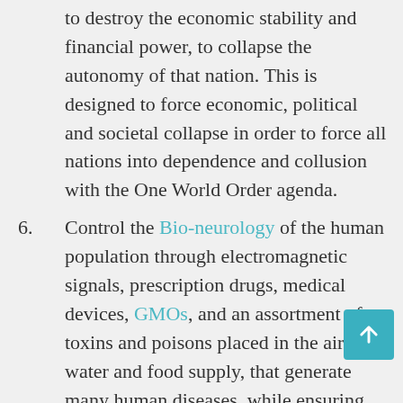to destroy the economic stability and financial power, to collapse the autonomy of that nation. This is designed to force economic, political and societal collapse in order to force all nations into dependence and collusion with the One World Order agenda.
6. Control the Bio-neurology of the human population through electromagnetic signals, prescription drugs, medical devices, GMOs, and an assortment of toxins and poisons placed in the air, water and food supply, that generate many human diseases, while ensuring that the knowledge to cure the diseases is made unavailable to the masses.
7. Promote disinformation and suppression of accurate knowledge within the hard sciences,